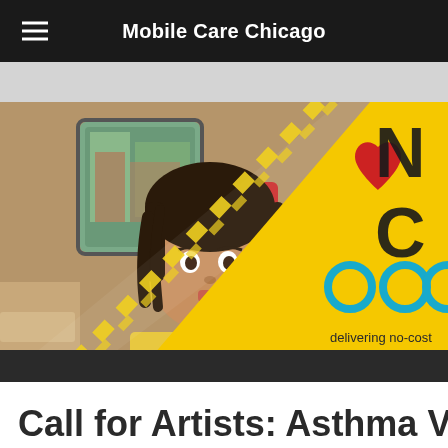Mobile Care Chicago
[Figure (photo): Hero image: left half shows a young girl in a yellow shirt using a red inhaler inside a medical van; right half shows Mobile Care Chicago logo on yellow background with a red heart, blue circles, and text 'delivering no-cost' partially visible]
Call for Artists: Asthma Van Ma